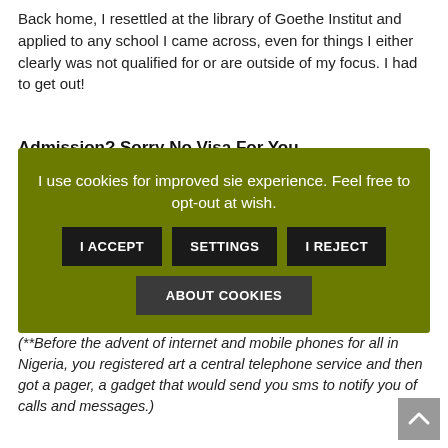Back home, I resettled at the library of Goethe Institut and applied to any school I came across, even for things I either clearly was not qualified for or are outside of my focus. I had to get out!
Admission?  Sorry No Visa For You
[Figure (screenshot): Cookie consent overlay with olive/green background. Text: 'I use cookies for improved sie experience. Feel free to opt-out at wish.' Three buttons: 'I ACCEPT', 'SETTINGS', 'I REJECT', and below them 'ABOUT COOKIES'.]
On the 27th of April 2000, 4.30 pm, I was paged** by the German embassy to come and collect my visa. (**Before the advent of internet and mobile phones for all in Nigeria, you registered art a central telephone service and then got a pager, a gadget that would send you sms to notify you of calls and messages.)